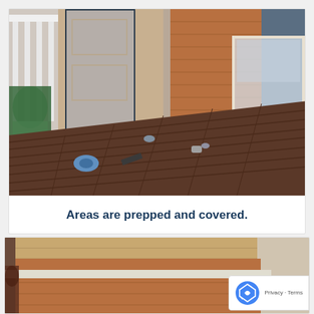[Figure (photo): A deck/balcony with dark brown composite decking boards. Painting supplies including tape rolls and other items are scattered on the deck. The area adjacent to the house siding (brown/tan color) is being prepared for work. A door with protective covering is visible in the background. Left side shows white railing posts and green garden hose equipment.]
Areas are prepped and covered.
[Figure (photo): Partial view of another construction/painting scene showing eaves, siding, and structural elements of a house exterior. The photo is partially cropped by a reCAPTCHA widget overlay in the bottom right corner.]